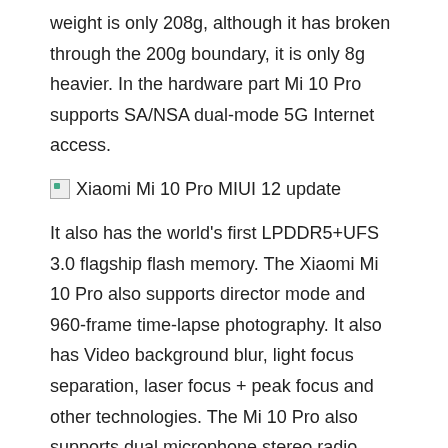weight is only 208g, although it has broken through the 200g boundary, it is only 8g heavier. In the hardware part Mi 10 Pro supports SA/NSA dual-mode 5G Internet access.
[Figure (photo): Broken image placeholder with alt text: Xiaomi Mi 10 Pro MIUI 12 update]
It also has the world's first LPDDR5+UFS 3.0 flagship flash memory. The Xiaomi Mi 10 Pro also supports director mode and 960-frame time-lapse photography. It also has Video background blur, light focus separation, laser focus + peak focus and other technologies. The Mi 10 Pro also supports dual microphone stereo radio, which is amazing in video shooting.
Related